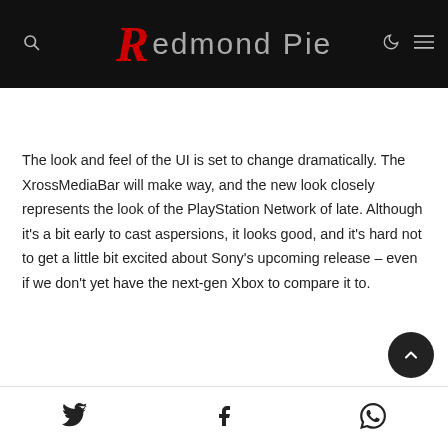Redmond Pie
The look and feel of the UI is set to change dramatically. The XrossMediaBar will make way, and the new look closely represents the look of the PlayStation Network of late. Although it's a bit early to cast aspersions, it looks good, and it's hard not to get a little bit excited about Sony's upcoming release – even if we don't yet have the next-gen Xbox to compare it to.
Twitter | Facebook | WhatsApp social share icons